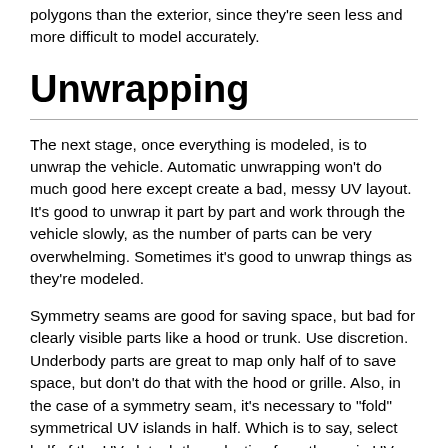polygons than the exterior, since they're seen less and more difficult to model accurately.
Unwrapping
The next stage, once everything is modeled, is to unwrap the vehicle. Automatic unwrapping won't do much good here except create a bad, messy UV layout. It's good to unwrap it part by part and work through the vehicle slowly, as the number of parts can be very overwhelming. Sometimes it's good to unwrap things as they're modeled.
Symmetry seams are good for saving space, but bad for clearly visible parts like a hood or trunk. Use discretion. Underbody parts are great to map only half of to save space, but don't do that with the hood or grille. Also, in the case of a symmetry seam, it's necessary to "fold" symmetrical UV islands in half. Which is to say, select half of the UV, detach the selection from the main UV, mirror it by scaling it by -1 along an axis, and line it up with the other half. Otherwise, the normal map won't display correctly.
Any underbody part, like a suspension component, the underside of a body panel, or the frame, should